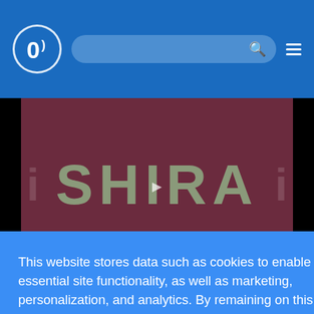Website header with logo, search bar, and hamburger menu on blue background
[Figure (screenshot): Video thumbnail showing the word SHIRA in large gray block letters on a dark red/maroon background]
This website stores data such as cookies to enable essential site functionality, as well as marketing, personalization, and analytics. By remaining on this website you indicate your consent.
Privacy Policy
yback speed
lask: Focusing on Faith